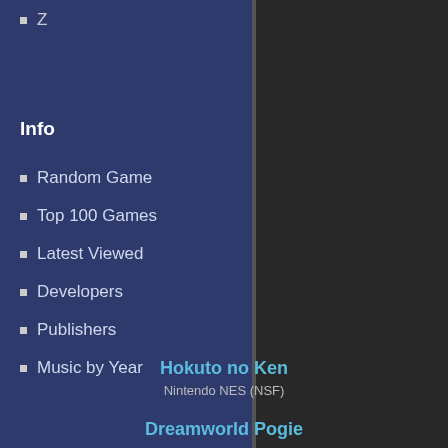Z
Info
Random Game
Top 100 Games
Latest Viewed
Developers
Publishers
Music by Year
Hokuto no Ken
Nintendo NES (NSF)
Dreamworld Pogie